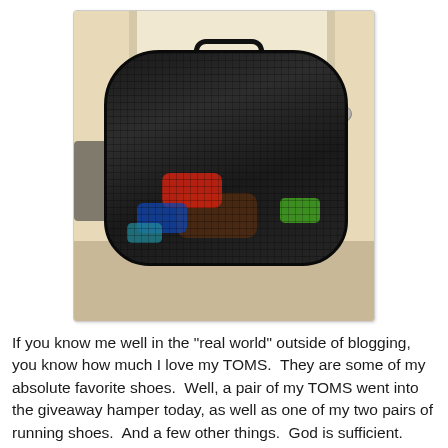[Figure (photo): A large black mesh laundry or donation hamper bag stuffed full of colorful items including shoes and clothing, sitting on a beige/tan carpet floor in front of a white door frame.]
If you know me well in the "real world" outside of blogging, you know how much I love my TOMS.  They are some of my absolute favorite shoes.  Well, a pair of my TOMS went into the giveaway hamper today, as well as one of my two pairs of running shoes.  And a few other things.  God is sufficient.